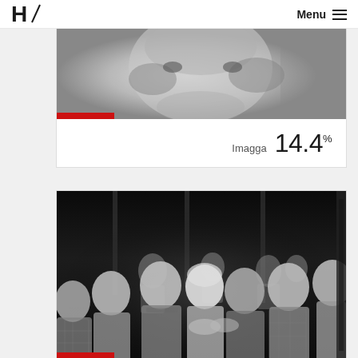H/ Menu ≡
[Figure (photo): Close-up grayscale photo of a person's face, cropped tightly]
Imagga  14.4%
[Figure (photo): Black and white group photo of multiple people gathered together, several bald or short-haired individuals visible]